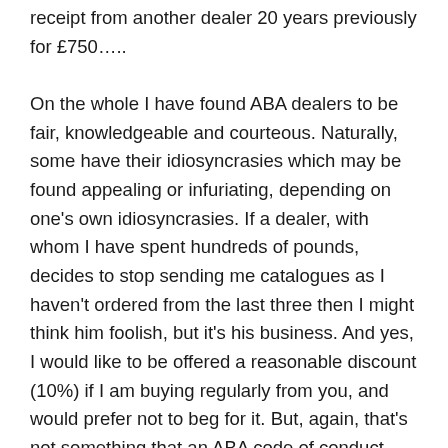receipt from another dealer 20 years previously for £750….. On the whole I have found ABA dealers to be fair, knowledgeable and courteous. Naturally, some have their idiosyncrasies which may be found appealing or infuriating, depending on one's own idiosyncrasies. If a dealer, with whom I have spent hundreds of pounds, decides to stop sending me catalogues as I haven't ordered from the last three then I might think him foolish, but it's his business. And yes, I would like to be offered a reasonable discount (10%) if I am buying regularly from you, and would prefer not to beg for it. But, again, that's not something that an ABA code of conduct could realistically be expected to cover. And yet perhaps, as William